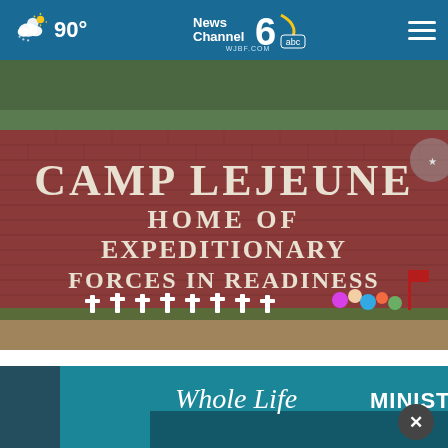90° | News Channel 6 abc WJBF.COM
[Figure (photo): Photo of the Camp Lejeune entrance sign on a red brick wall reading 'CAMP LEJEUNE HOME OF EXPEDITIONARY FORCES IN READINESS' with white cross grave markers and colorful flowers at the base]
Camp Lejeune Families Finally Eligible for Compensation
camplejeunel awsui ts ettlement. c
[Figure (photo): Advertisement banner for Whole Life Ministries showing text 'Whole Life MINISTRIES' over a teal/blue background]